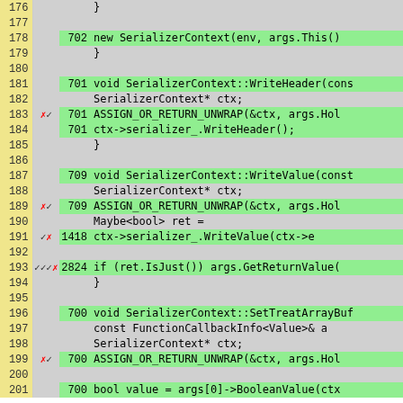[Figure (screenshot): Code coverage viewer showing C++ source lines 176-201 with line numbers, coverage marks (checkmarks/x marks), execution counts, and highlighted code in green (covered) and gray (uncovered). Functions include SerializerContext methods WriteHeader, WriteValue, SetTreatArrayBuf.]